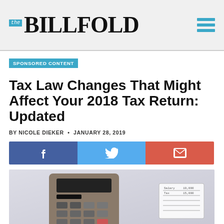the BILLFOLD
SPONSORED CONTENT
Tax Law Changes That Might Affect Your 2018 Tax Return: Updated
BY NICOLE DIEKER • JANUARY 28, 2019
[Figure (infographic): Social sharing bar with Facebook, Twitter, and email icons]
[Figure (photo): Photo of a calculator and a handwritten tax/salary document on a light background]